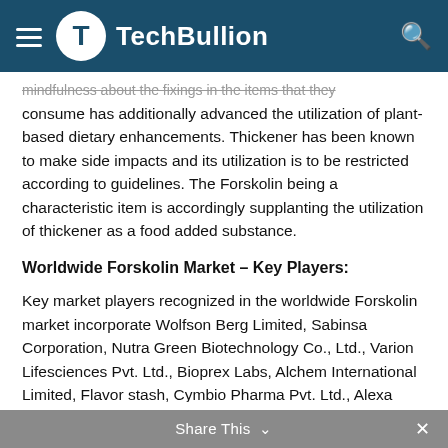TechBullion
mindfulness about the fixings in the items that they consume has additionally advanced the utilization of plant-based dietary enhancements. Thickener has been known to make side impacts and its utilization is to be restricted according to guidelines. The Forskolin being a characteristic item is accordingly supplanting the utilization of thickener as a food added substance.
Worldwide Forskolin Market – Key Players:
Key market players recognized in the worldwide Forskolin market incorporate Wolfson Berg Limited, Sabinsa Corporation, Nutra Green Biotechnology Co., Ltd., Varion Lifesciences Pvt. Ltd., Bioprex Labs, Alchem International Limited, Flavor stash, Cymbio Pharma Pvt. Ltd., Alexa Biotech Pvt. Ltd. among others.
Share This ∨  ✕